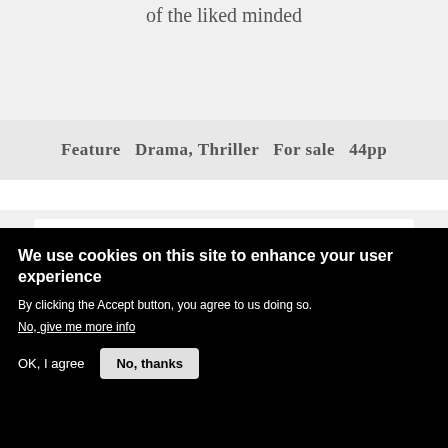of the liked minded
Feature  Drama, Thriller  For sale  44pp
[Figure (screenshot): A white card with a small gold/yellow metallic circle on the lower left, set against a light grey background panel]
We use cookies on this site to enhance your user experience
By clicking the Accept button, you agree to us doing so.
No, give me more info
OK, I agree
No, thanks